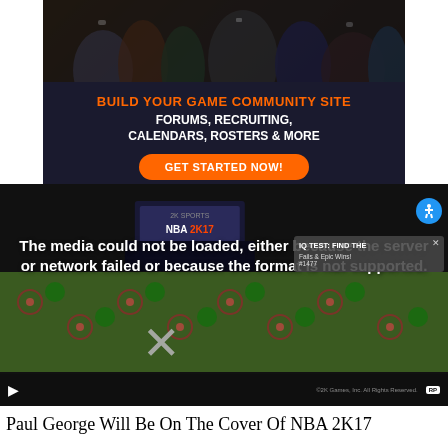[Figure (infographic): Advertisement banner with game characters at top, orange text 'BUILD YOUR GAME COMMUNITY SITE', white text 'FORUMS, RECRUITING, CALENDARS, ROSTERS & MORE', and orange 'GET STARTED NOW!' button]
[Figure (screenshot): Video player showing NBA 2K17 box art in dark background with error message 'The media could not be loaded, either because the server or network failed or because the format is not supported.' overlaid on a game screenshot. Controls bar at bottom with play button. Ad popup overlay showing 'IQ TEST: FIND THE' and 'Fails & Epic Wins! #1477'. Accessibility button top right.]
Paul George Will Be On The Cover Of NBA 2K17